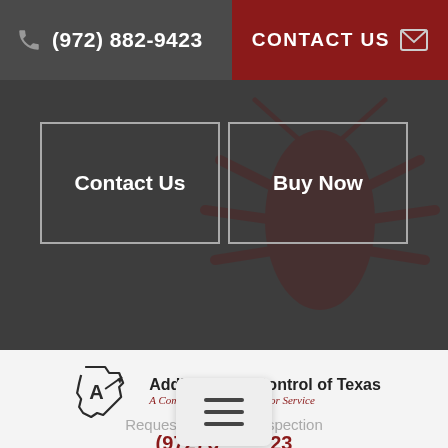(972) 882-9423
CONTACT US
Contact Us
Buy Now
[Figure (logo): Addison Pest Control of Texas logo with Texas state outline and stylized 'A' with arrow]
Addison Pest Control of Texas
A Company Built on Superior Service
Request Your Free Inspection
(972) 882-9423